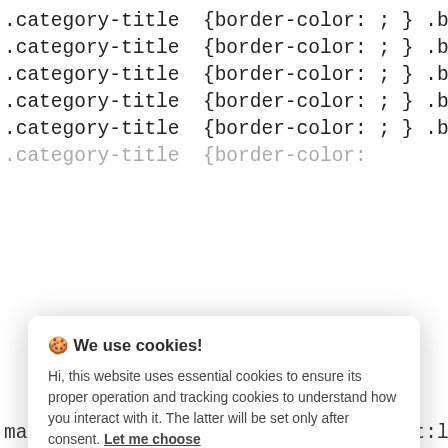.category-title {border-color: ; } .block-5
.category-title {border-color: ; } .block-6
.category-title {border-color: ; } .block-7
.category-title {border-color: ; } .block-8
.category-title {border-color: ; } .block-9
[Figure (screenshot): Cookie consent modal dialog with title '🍪 We use cookies!', body text explaining essential and tracking cookies, a 'Let me choose' link, a green 'Accept all' button, and a grey 'Reject all' button.]
margin:0; padding-right:5px; float:left; }